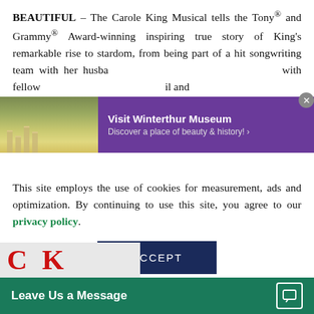BEAUTIFUL – The Carole King Musical tells the Tony® and Grammy® Award-winning inspiring true story of King's remarkable rise to stardom, from being part of a hit songwriting team with her husband [obscured by ad] with fellow [obscured by ad] il and
[Figure (screenshot): Advertisement overlay for Visit Winterthur Museum with purple background and image of building with yellow flowers. Text: 'Visit Winterthur Museum' and 'Discover a place of beauty & history!']
This site employs the use of cookies for measurement, ads and optimization. By continuing to use this site, you agree to our privacy policy.
[Figure (screenshot): ACCEPT button in dark navy blue]
[Figure (screenshot): Bottom bar: 'Leave Us a Message' in teal/green with chat icon]